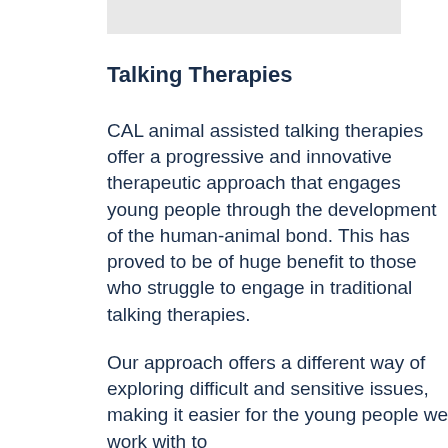[Figure (other): Gray placeholder image at the top of the page]
Talking Therapies
CAL animal assisted talking therapies offer a progressive and innovative therapeutic approach that engages young people through the development of the human-animal bond. This has proved to be of huge benefit to those who struggle to engage in traditional talking therapies.
Our approach offers a different way of exploring difficult and sensitive issues, making it easier for the young people we work with to